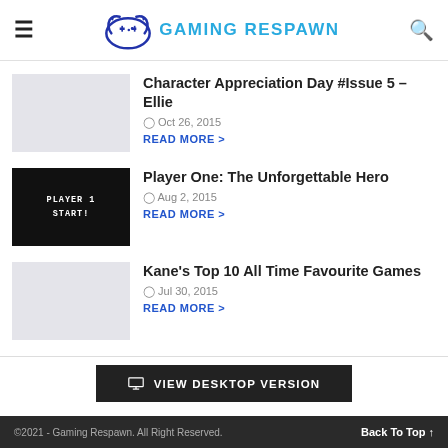Gaming Respawn
Character Appreciation Day #Issue 5 – Ellie
Oct 26, 2015
READ MORE >
Player One: The Unforgettable Hero
Aug 2, 2015
READ MORE >
Kane's Top 10 All Time Favourite Games
Jul 30, 2015
READ MORE >
VIEW DESKTOP VERSION
©2021 - Gaming Respawn. All Right Reserved.   Back To Top ↑